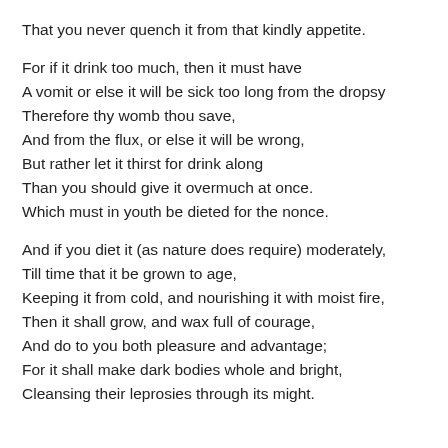That you never quench it from that kindly appetite.

For if it drink too much, then it must have
A vomit or else it will be sick too long from the dropsy
Therefore thy womb thou save,
And from the flux, or else it will be wrong,
But rather let it thirst for drink along
Than you should give it overmuch at once.
Which must in youth be dieted for the nonce.

And if you diet it (as nature does require) moderately,
Till time that it be grown to age,
Keeping it from cold, and nourishing it with moist fire,
Then it shall grow, and wax full of courage,
And do to you both pleasure and advantage;
For it shall make dark bodies whole and bright,
Cleansing their leprosies through its might.